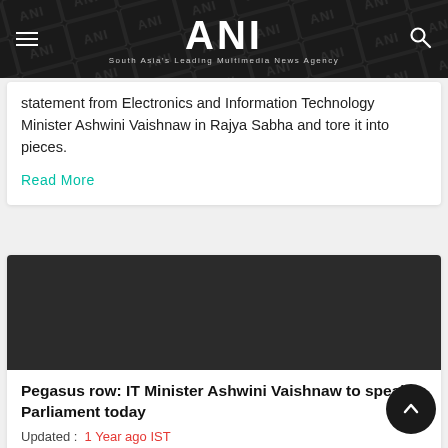ANI — South Asia's Leading Multimedia News Agency
statement from Electronics and Information Technology Minister Ashwini Vaishnaw in Rajya Sabha and tore it into pieces.
Read More
[Figure (photo): Dark grey/black image placeholder for news article]
Pegasus row: IT Minister Ashwini Vaishnaw to speak in Parliament today
Updated :  1 Year ago IST
New Delhi [India], July 22 (ANI): Amid the controversy over